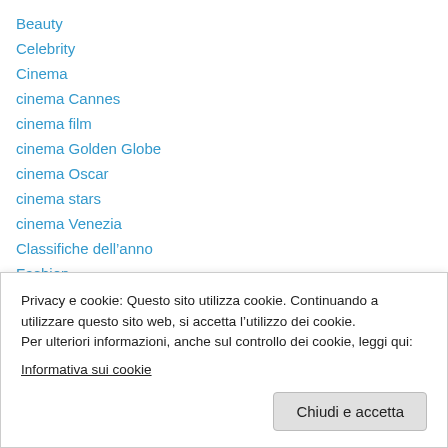Beauty
Celebrity
Cinema
cinema Cannes
cinema film
cinema Golden Globe
cinema Oscar
cinema stars
cinema Venezia
Classifiche dell’anno
Fashion
fashion carpet
fashion starlook
Lifestyle
Privacy e cookie: Questo sito utilizza cookie. Continuando a utilizzare questo sito web, si accetta l’utilizzo dei cookie.
Per ulteriori informazioni, anche sul controllo dei cookie, leggi qui:
Informativa sui cookie
Chiudi e accetta